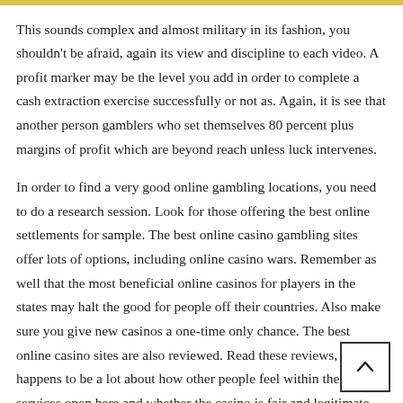This sounds complex and almost military in its fashion, you shouldn't be afraid, again its view and discipline to each video. A profit marker may be the level you add in order to complete a cash extraction exercise successfully or not as. Again, it is see that another person gamblers who set themselves 80 percent plus margins of profit which are beyond reach unless luck intervenes.
In order to find a very good online gambling locations, you need to do a research session. Look for those offering the best online settlements for sample. The best online casino gambling sites offer lots of options, including online casino wars. Remember as well that the most beneficial online casinos for players in the states may halt the good for people off their countries. Also make sure you give new casinos a one-time only chance. The best online casino sites are also reviewed. Read these reviews, because happens to be a lot about how other people feel within the services open here and whether the casino is fair and legitimate. Never part using m up until you are sure you can trust the site.